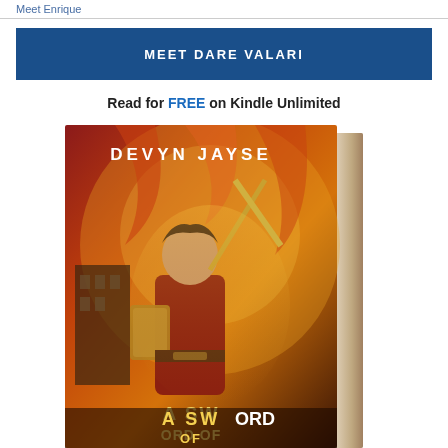Meet Enrique
MEET DARE VALARI
Read for FREE on Kindle Unlimited
[Figure (photo): Book cover of 'A Sword of...' by Devyn Jayse, showing a young person holding a sword aloft with fiery background, displayed as a 3D book standing upright]